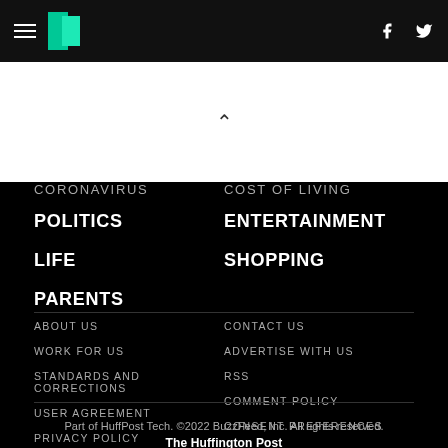HuffPost navigation bar with hamburger menu, logo, Facebook and Twitter icons
CORONAVIRUS
COST OF LIVING
POLITICS
ENTERTAINMENT
LIFE
SHOPPING
PARENTS
ABOUT US
CONTACT US
WORK FOR US
ADVERTISE WITH US
STANDARDS AND CORRECTIONS
RSS
USER AGREEMENT
COMMENT POLICY
PRIVACY POLICY
CONSENT PREFERENCES
Part of HuffPost Tech. ©2022 BuzzFeed, Inc. All rights reserved. The Huffington Post